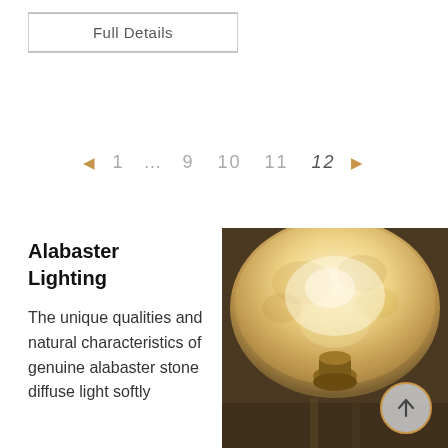Full Details
◄  1  …  9  10  11  12  ►
Alabaster Lighting
The unique qualities and natural characteristics of genuine alabaster stone diffuse light softly
[Figure (photo): Close-up photo of an alabaster pendant light fixture glowing warmly, with a brass mount visible from below.]